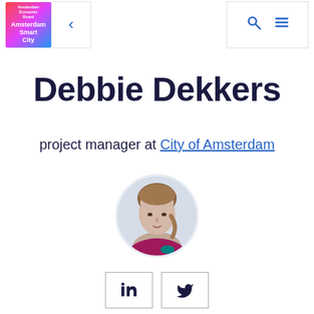Amsterdam Smart City — navigation header with logo, back button, search and menu icons
Debbie Dekkers
project manager at City of Amsterdam
[Figure (photo): Round circular profile photo of Debbie Dekkers, a woman with light complexion and dark blonde hair pulled back, wearing a dark pink/magenta top]
LinkedIn and Twitter social media icon buttons